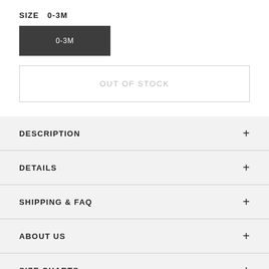SIZE  0-3M
0-3M
OUT OF STOCK
DESCRIPTION
DETAILS
SHIPPING & FAQ
ABOUT US
SIZE CHARTS